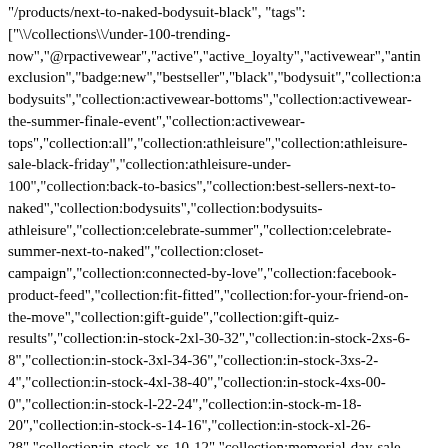"/products/next-to-naked-bodysuit-black", "tags": ["\/collections\/under-100-trending-now","@rpactivewear","active","active_loyalty","activewear","antim exclusion","badge:new","bestseller","black","bodysuit","collection:a bodysuits","collection:activewear-bottoms","collection:activewear-the-summer-finale-event","collection:activewear-tops","collection:all","collection:athleisure","collection:athleisure-sale-black-friday","collection:athleisure-under-100","collection:back-to-basics","collection:best-sellers-next-to-naked","collection:bodysuits","collection:bodysuits-athleisure","collection:celebrate-summer","collection:celebrate-summer-next-to-naked","collection:closet-campaign","collection:connected-by-love","collection:facebook-product-feed","collection:fit-fitted","collection:for-your-friend-on-the-move","collection:gift-guide","collection:gift-quiz-results","collection:in-stock-2xl-30-32","collection:in-stock-2xs-6-8","collection:in-stock-3xl-34-36","collection:in-stock-3xs-2-4","collection:in-stock-4xl-38-40","collection:in-stock-4xs-00-0","collection:in-stock-l-22-24","collection:in-stock-m-18-20","collection:in-stock-s-14-16","collection:in-stock-xl-26-28","collection:in-stock-xs-10-12","collection:memorial-day-sale-exclusions","collection:memorial-day-weekend-sale","collection:mothers-day-gifts","collection:naked-buy-one","collection:next-to-naked","collection:next-to-naked-athleisure","collection:next-to-naked-best-